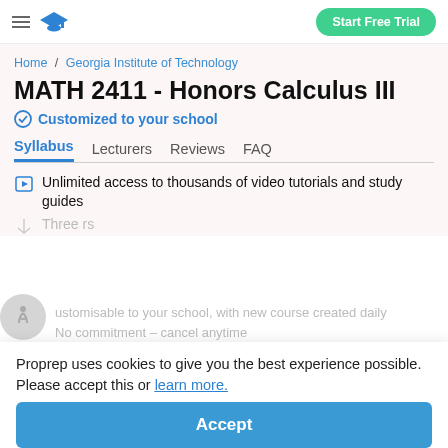Start Free Trial
Home / Georgia Institute of Technology
MATH 2411 - Honors Calculus III
Customized to your school
Syllabus   Lecturers   Reviews   FAQ
Unlimited access to thousands of video tutorials and study guides
Three ...rs
ustomisable to your school, with new course created daily
No commitment – cancel anytime
Proprep uses cookies to give you the best experience possible. Please accept this or learn more.
Accept